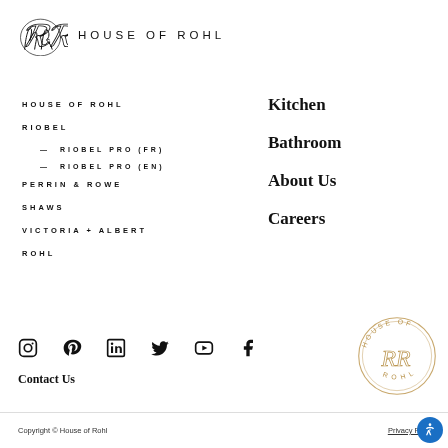[Figure (logo): House of Rohl logo with cursive HR monogram and text HOUSE OF ROHL]
HOUSE OF ROHL
RIOBEL
— RIOBEL PRO (FR)
— RIOBEL PRO (EN)
PERRIN & ROWE
SHAWS
VICTORIA + ALBERT
ROHL
Kitchen
Bathroom
About Us
Careers
[Figure (illustration): Social media icons: Instagram, Pinterest, LinkedIn, Twitter, YouTube, Facebook]
Contact Us
[Figure (logo): House of Rohl circular stamp logo with cursive HR monogram]
Copyright © House of Rohl   Privacy Po...